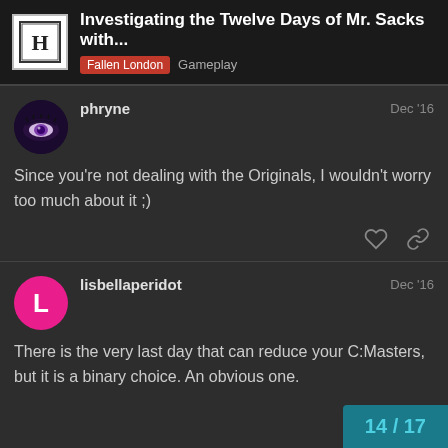Investigating the Twelve Days of Mr. Sacks with... | Fallen London | Gameplay
phryne — Dec '16
Since you're not dealing with the Originals, I wouldn't worry too much about it ;)
lisbellaperidot — Dec '16
There is the very last day that can reduce your C:Masters, but it is a binary choice. An obvious one.
14 / 17